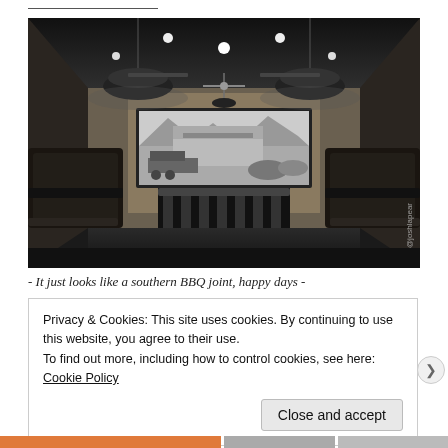[Figure (photo): Black and white interior photo of a restaurant resembling a southern BBQ joint. Shows booth seating on both sides, a large framed mural/painting of a train station on the back wall, pendant lights hanging from the ceiling, and bar-height chairs near the back. Watermark '@joshlapear' visible in lower right corner.]
- It just looks like a southern BBQ joint, happy days -
Privacy & Cookies: This site uses cookies. By continuing to use this website, you agree to their use.
To find out more, including how to control cookies, see here: Cookie Policy
Close and accept